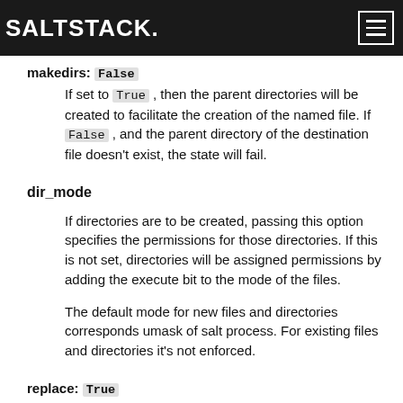SALTSTACK
makedirs: False
If set to True, then the parent directories will be created to facilitate the creation of the named file. If False, and the parent directory of the destination file doesn't exist, the state will fail.
dir_mode
If directories are to be created, passing this option specifies the permissions for those directories. If this is not set, directories will be assigned permissions by adding the execute bit to the mode of the files.
The default mode for new files and directories corresponds umask of salt process. For existing files and directories it's not enforced.
replace: True